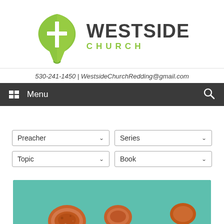[Figure (logo): Westside Church logo: green oak leaf with white cross, next to bold text 'WESTSIDE' in dark gray and 'CHURCH' in green below]
530-241-1450 | WestsideChurchRedding@gmail.com
Menu
[Figure (screenshot): Filter dropdowns: Preacher, Series, Topic, Book]
[Figure (photo): Photo of measuring spoons with spices on a teal/green background]